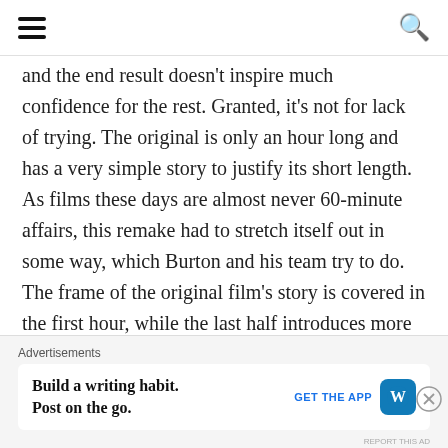[hamburger menu] [search icon]
and the end result doesn't inspire much confidence for the rest. Granted, it's not for lack of trying. The original is only an hour long and has a very simple story to justify its short length. As films these days are almost never 60-minute affairs, this remake had to stretch itself out in some way, which Burton and his team try to do. The frame of the original film's story is covered in the first hour, while the last half introduces more characters, a new set, and a not-so-subtle dig at the Disney corporate machine through an exploitative entrepreneur played by Michael Keaton.
Advertisements
Build a writing habit. Post on the go.
GET THE APP